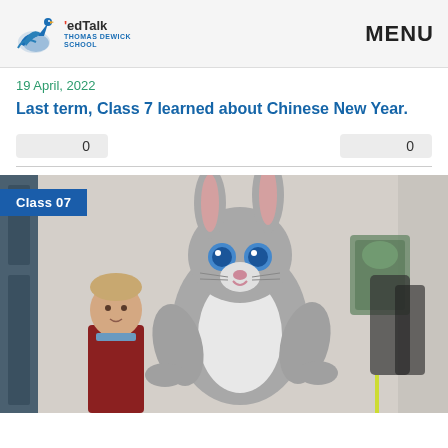edTalk Thomas Dewick School | MENU
19 April, 2022
Last term, Class 7 learned about Chinese New Year.
0   0
[Figure (photo): A person in a large grey Easter bunny mascot costume standing next to a young boy in a classroom/school hallway setting. A blue badge reads 'Class 07' in the top left corner.]